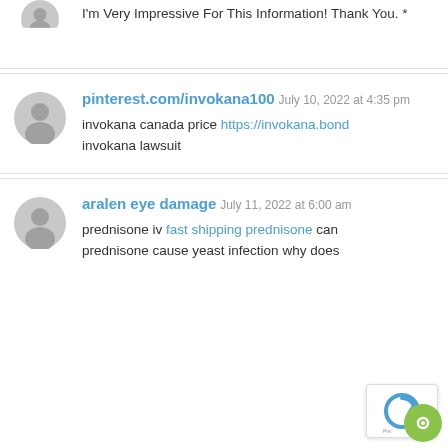I'm Very Impressive For This Information! Thank You. *
pinterest.com/invokana100  July 10, 2022 at 4:35 pm
invokana canada price https://invokana.bond invokana lawsuit
aralen eye damage  July 11, 2022 at 6:00 am
prednisone iv fast shipping prednisone can prednisone cause yeast infection why does